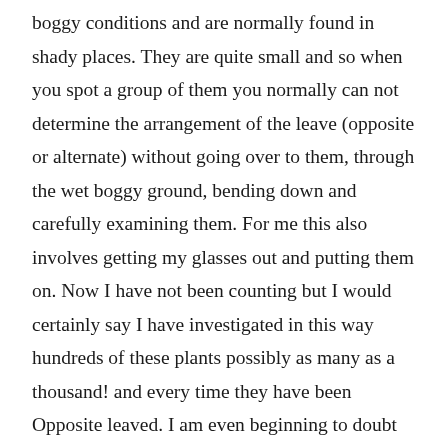boggy conditions and are normally found in shady places. They are quite small and so when you spot a group of them you normally can not determine the arrangement of the leave (opposite or alternate) without going over to them, through the wet boggy ground, bending down and carefully examining them. For me this also involves getting my glasses out and putting them on. Now I have not been counting but I would certainly say I have investigated in this way hundreds of these plants possibly as many as a thousand! and every time they have been Opposite leaved. I am even beginning to doubt the existence of the Alternate leaved species. I have though looked it up on the internet and there are quite a few photos